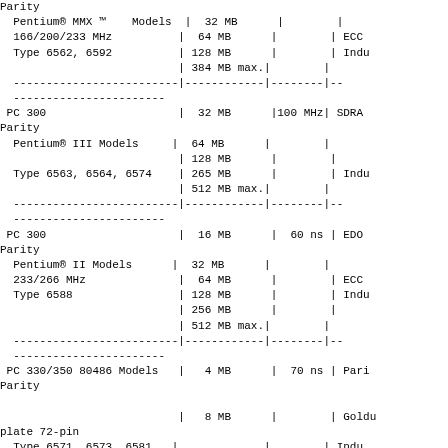| Model | Memory | Speed | Type |
| --- | --- | --- | --- |
| Parity
  Pentium® MMX ™    Models
  166/200/233 MHz
  Type 6562, 6592 | 32 MB
64 MB
128 MB
384 MB max. |  | ECC
Indu |
| PC 300
Parity
  Pentium® III Models

  Type 6563, 6564, 6574 | 32 MB
64 MB
128 MB
265 MB
512 MB max. | 100 MHz | SDRA

Indu |
| PC 300
Parity
  Pentium® II Models
  233/266 MHz
  Type 6588 | 16 MB
32 MB
64 MB
128 MB
256 MB
512 MB max. | 60 ns | EDO
ECC
Indu |
| PC 330/350 80486 Models
Parity

plate 72-pin
  Type 6571, 6573, 6581
       6583 | 4 MB

8 MB


128 MB max. | 70 ns | Pari
Goldu
Indu |